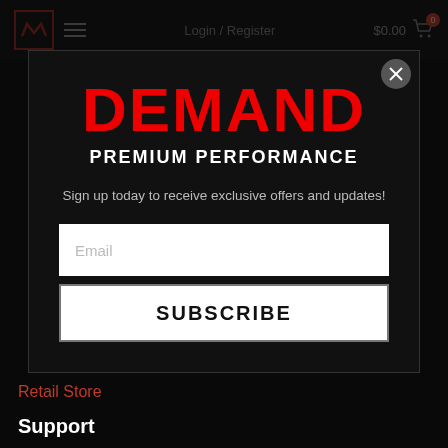Login / Register   $0.00
[Figure (screenshot): McMillan website with modal popup dialog]
DEMAND
PREMIUM PERFORMANCE
Sign up today to receive exclusive offers and updates!
Email
SUBSCRIBE
Retail Store
Support